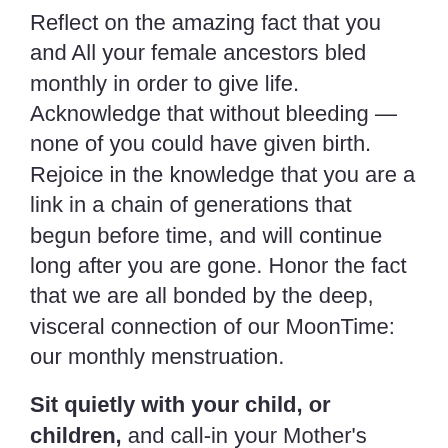Reflect on the amazing fact that you and All your female ancestors bled monthly in order to give life. Acknowledge that without bleeding — none of you could have given birth. Rejoice in the knowledge that you are a link in a chain of generations that begun before time, and will continue long after you are gone. Honor the fact that we are all bonded by the deep, visceral connection of our MoonTime: our monthly menstruation.
Sit quietly with your child, or children, and call-in your Mother's Line. Then invite them to call theirs, which will be the same as yours, but will include their name, and yours as their mother.
Tell them about all the endearing ways in which they may be like their grandmother or great-grandmother. What features or traits do you see in